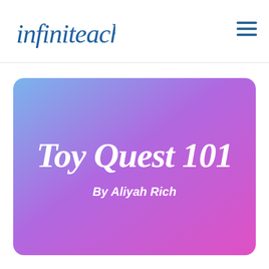infiniteach
[Figure (illustration): infiniteach logo in cursive blue font with a hamburger menu icon on the right]
Toy Quest 101
By Aliyah Rich